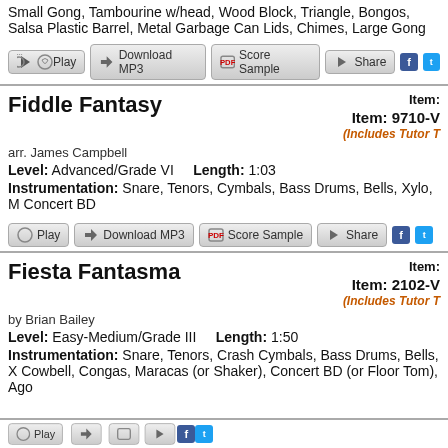Small Gong, Tambourine w/head, Wood Block, Triangle, Bongos, Salsa Plastic Barrel, Metal Garbage Can Lids, Chimes, Large Gong
[Figure (other): Button row: Play, Download MP3, Score Sample, Share with Facebook and Twitter icons]
Fiddle Fantasy
Item: (truncated right)
Item: 9710-V
(Includes Tutor T...)
arr. James Campbell
Level: Advanced/Grade VI    Length: 1:03
Instrumentation: Snare, Tenors, Cymbals, Bass Drums, Bells, Xylo, M... Concert BD
[Figure (other): Button row: Play, Download MP3, Score Sample, Share with Facebook and Twitter icons]
Fiesta Fantasma
Item: (truncated right)
Item: 2102-V
(Includes Tutor T...)
by Brian Bailey
Level: Easy-Medium/Grade III    Length: 1:50
Instrumentation: Snare, Tenors, Crash Cymbals, Bass Drums, Bells, X... Cowbell, Congas, Maracas (or Shaker), Concert BD (or Floor Tom), Ago...
[Figure (other): Partial button row at bottom: Play, Download MP3, Score Sample, Share icons (cropped)]